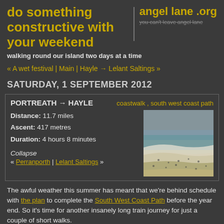do something constructive with your weekend
angel lane .org
you can't leave angel lane
walking round our island two days at a time
« A wet festival | Main | Hayle → Lelant Saltings »
SATURDAY, 1 SEPTEMBER 2012
PORTREATH → HAYLE   coastwalk , south west coast path
Distance: 11.7 miles
Ascent: 417 metres
Duration: 4 hours 8 minutes
[Figure (photo): Aerial view of a busy beach with people and waves]
Collapse
« Perranporth | Lelant Saltings »
The awful weather this summer has meant that we're behind schedule with the plan to complete the South West Coast Path before the year end. So it's time for another insanely long train journey for just a couple of short walks.
This walk is very much in two parts: along the cliff-tops, then